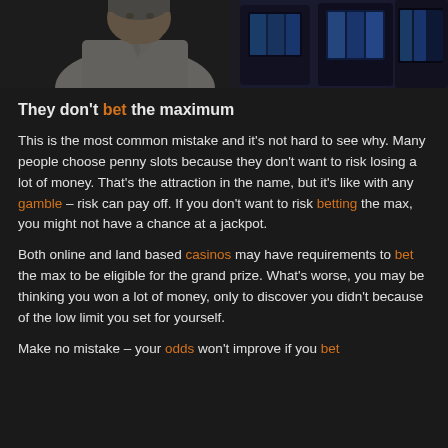[Figure (photo): A man in a white dress shirt thoughtfully touching his chin/face, with casino slot machines visible in the background.]
They don't bet the maximum
This is the most common mistake and it's not hard to see why. Many people choose penny slots because they don't want to risk losing a lot of money. That's the attraction in the name, but it's like with any gamble – risk can pay off. If you don't want to risk betting the max, you might not have a chance at a jackpot.
Both online and land based casinos may have requirements to bet the max to be eligible for the grand prize. What's worse, you may be thinking you won a lot of money, only to discover you didn't because of the low limit you set for yourself.
Make no mistake – your odds won't improve if you bet